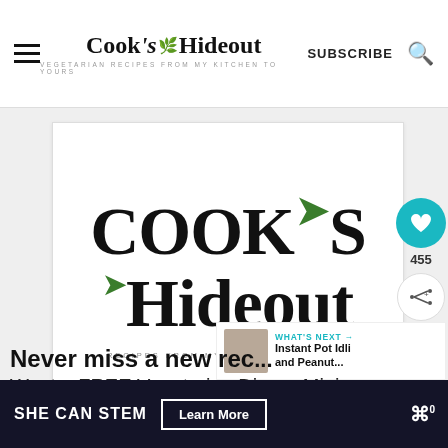Cook's Hideout — VEGETARIAN RECIPES FROM MY KITCHEN TO YOURS — SUBSCRIBE
[Figure (logo): Cook's Hideout logo with green leaf accents, text: COOK'S Hideout, RECIPES FROM MY KITCHEN TO YOURS]
455
WHAT'S NEXT → Instant Pot Idli and Peanut...
Never miss a new reci...
Want a FREE Vegetarian Dinner Mini
SHE CAN STEM   Learn More